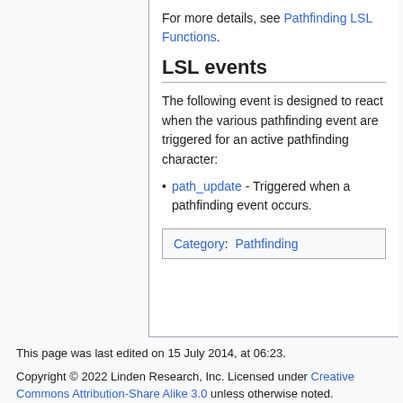For more details, see Pathfinding LSL Functions.
LSL events
The following event is designed to react when the various pathfinding event are triggered for an active pathfinding character:
path_update - Triggered when a pathfinding event occurs.
Category:  Pathfinding
This page was last edited on 15 July 2014, at 06:23.
Copyright © 2022 Linden Research, Inc. Licensed under Creative Commons Attribution-Share Alike 3.0 unless otherwise noted.